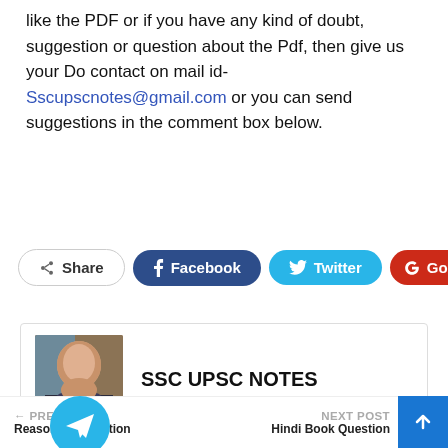like the PDF or if you have any kind of doubt, suggestion or question about the Pdf, then give us your Do contact on mail id- Sscupscnotes@gmail.com or you can send suggestions in the comment box below.
[Figure (infographic): Comment count button showing 0 comments]
[Figure (infographic): Social share buttons: Share, Facebook, Twitter, Google+, and a plus button]
[Figure (infographic): Profile card for SSC UPSC NOTES with photo]
[Figure (infographic): Join Our Telegram Channel button with Telegram icon]
← PREV POST   NEXT POST   ↑
Reasoning Question   Hindi Book Question